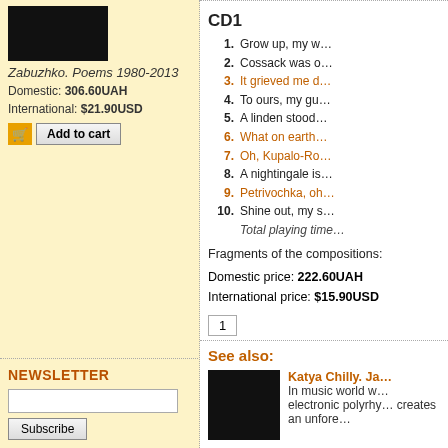[Figure (photo): Book cover image for Zabuzhko. Poems 1980-2013]
Zabuzhko. Poems 1980-2013
Domestic: 306.60UAH
International: $21.90USD
Add to cart
CD1
1. Grow up, my w…
2. Cossack was o…
3. It grieved me d…
4. To ours, my gu…
5. A linden stood…
6. What on earth…
7. Oh, Kupalo-Ro…
8. A nightingale is…
9. Petrivochka, oh…
10. Shine out, my s…
Total playing time…
Fragments of the compositions:
Domestic price: 222.60UAH
International price: $15.90USD
1
See also:
Katya Chilly. Ja…
In music world w… electronic polyrhy… creates an unfore…
NEWSLETTER
Subscribe